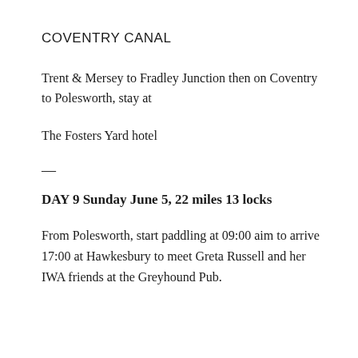COVENTRY CANAL
Trent & Mersey to Fradley Junction then on Coventry to Polesworth, stay at
The Fosters Yard hotel
—
DAY 9 Sunday June 5, 22 miles 13 locks
From Polesworth, start paddling at 09:00 aim to arrive 17:00 at Hawkesbury to meet Greta Russell and her IWA friends at the Greyhound Pub.